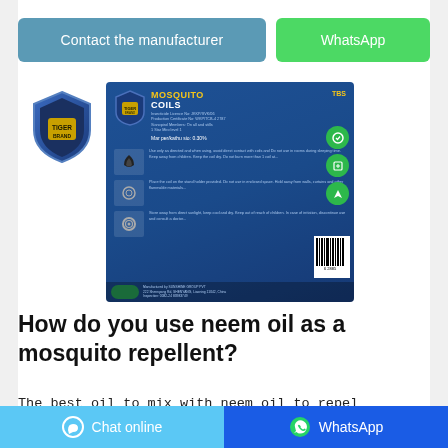[Figure (screenshot): Two buttons: 'Contact the manufacturer' (blue/teal) and 'WhatsApp' (green)]
[Figure (photo): Product photo of mosquito coils box (blue packaging, MOSQUITO COILS label) with a shield logo badge to the left]
How do you use neem oil as a mosquito repellent?
The best oil to mix with neem oil to repel mosquitoes is coconut oil. How to use neem oil as
[Figure (screenshot): Bottom navigation bar with 'Chat online' (light blue) and 'WhatsApp' (dark blue) buttons]